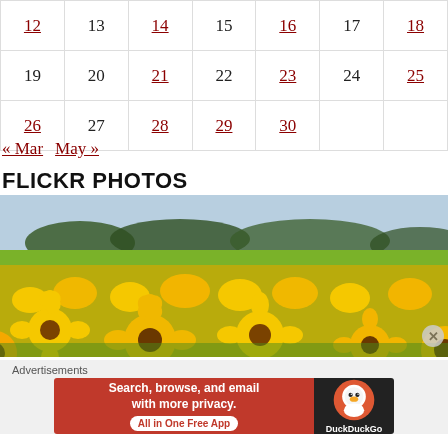| 12 | 13 | 14 | 15 | 16 | 17 | 18 |
| 19 | 20 | 21 | 22 | 23 | 24 | 25 |
| 26 | 27 | 28 | 29 | 30 |  |  |
« Mar   May »
FLICKR PHOTOS
[Figure (photo): A field of sunflowers in bloom under a light blue sky with trees in the background.]
Advertisements
Search, browse, and email with more privacy. All in One Free App — DuckDuckGo